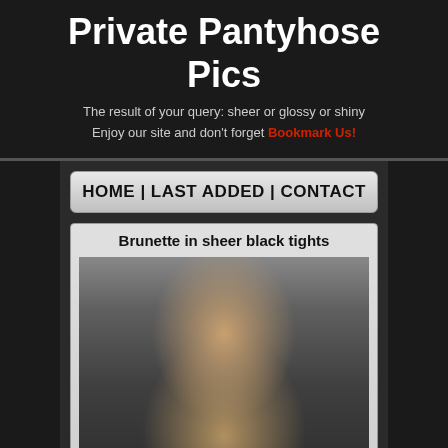Private Pantyhose Pics
The result of your query: sheer or glossy or shiny
Enjoy our site and don't forget Bookmark Us!
HOME | LAST ADDED | CONTACT
Brunette in sheer black tights
[Figure (photo): Photo of a brunette woman in sheer black tights in a bathroom setting, posed with legs raised overhead]